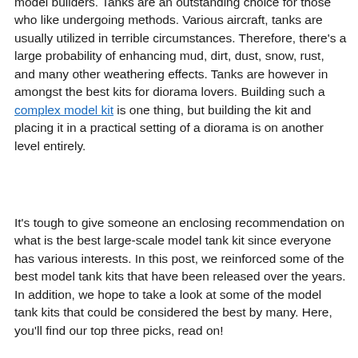model builders. Tanks are an outstanding choice for those who like undergoing methods. Various aircraft, tanks are usually utilized in terrible circumstances. Therefore, there's a large probability of enhancing mud, dirt, dust, snow, rust, and many other weathering effects. Tanks are however in amongst the best kits for diorama lovers. Building such a complex model kit is one thing, but building the kit and placing it in a practical setting of a diorama is on another level entirely.
It's tough to give someone an enclosing recommendation on what is the best large-scale model tank kit since everyone has various interests. In this post, we reinforced some of the best model tank kits that have been released over the years. In addition, we hope to take a look at some of the model tank kits that could be considered the best by many. Here, you'll find our top three picks, read on!